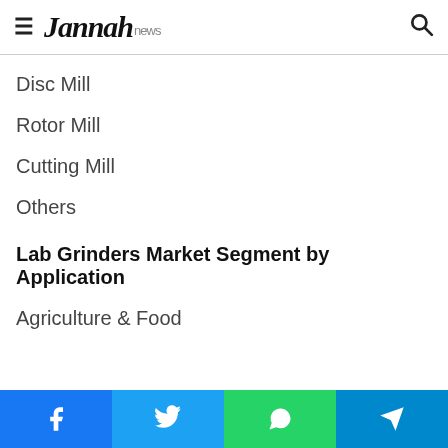Jannah news
Disc Mill
Rotor Mill
Cutting Mill
Others
Lab Grinders Market Segment by Application
Agriculture & Food